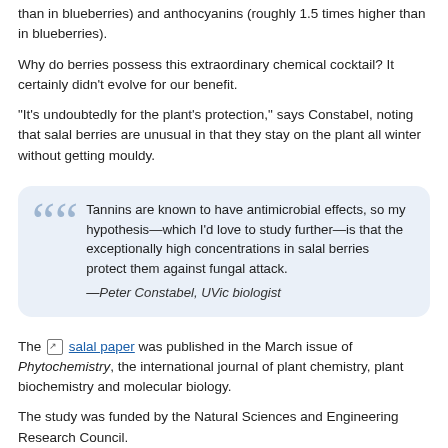than in blueberries) and anthocyanins (roughly 1.5 times higher than in blueberries).
Why do berries possess this extraordinary chemical cocktail? It certainly didn't evolve for our benefit.
"It's undoubtedly for the plant's protection," says Constabel, noting that salal berries are unusual in that they stay on the plant all winter without getting mouldy.
Tannins are known to have antimicrobial effects, so my hypothesis—which I'd love to study further—is that the exceptionally high concentrations in salal berries protect them against fungal attack. —Peter Constabel, UVic biologist
The salal paper was published in the March issue of Phytochemistry, the international journal of plant chemistry, plant biochemistry and molecular biology.
The study was funded by the Natural Sciences and Engineering Research Council.
Photos
[Figure (photo): Partial view of a person outdoors in a green natural setting]